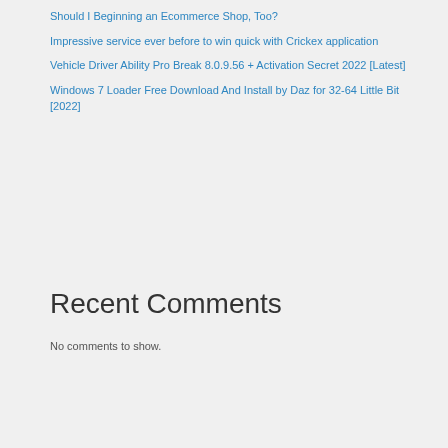Should I Beginning an Ecommerce Shop, Too?
Impressive service ever before to win quick with Crickex application
Vehicle Driver Ability Pro Break 8.0.9.56 + Activation Secret 2022 [Latest]
Windows 7 Loader Free Download And Install by Daz for 32-64 Little Bit [2022]
Recent Comments
No comments to show.